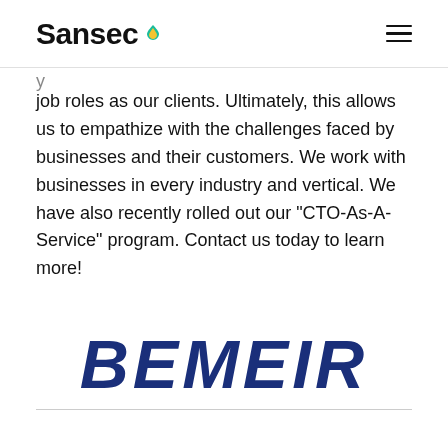Sansec
job roles as our clients. Ultimately, this allows us to empathize with the challenges faced by businesses and their customers. We work with businesses in every industry and vertical. We have also recently rolled out our "CTO-As-A-Service" program. Contact us today to learn more!
[Figure (logo): BEMEIR company logo in dark navy blue bold italic text]